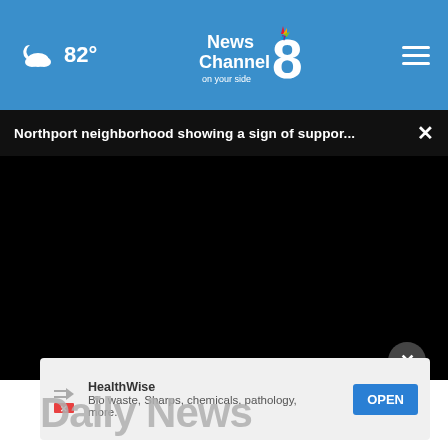☁ 82° | News Channel 8 on your side | ☰
Northport neighborhood showing a sign of suppor... ×
[Figure (screenshot): Black video player area (video not loaded)]
[Figure (screenshot): Advertisement overlay: HealthWise - Bio waste, Sharps, chemicals, pathology, more. OPEN button. Close X button.]
Daily News